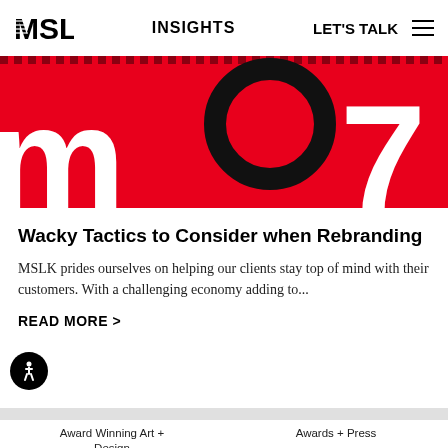MSLK | INSIGHTS | LET'S TALK
[Figure (photo): Red banner with large white letters and black circle graphic, decorative rebranding article header image]
Wacky Tactics to Consider when Rebranding
MSLK prides ourselves on helping our clients stay top of mind with their customers. With a challenging economy adding to...
READ MORE >
Award Winning Art + Design
Awards + Press
Design's Impact on Business
Eco-Friendly Design + the Environment
Fashion + Beauty Trends
Made by MSLK